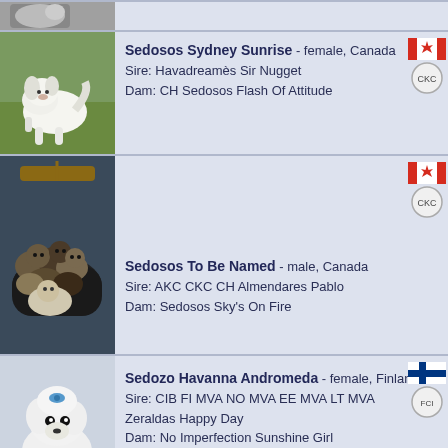[Figure (photo): Partial dog photo at top, cropped]
[Figure (photo): White fluffy puppy outdoors on grass - Sedosos Sydney Sunrise]
Sedosos Sydney Sunrise - female, Canada
Sire: Havadreamès Sir Nugget
Dam: CH Sedosos Flash Of Attitude
[Figure (photo): Multiple dark puppies in a basket - Sedosos To Be Named]
Sedosos To Be Named - male, Canada
Sire: AKC CKC CH Almendares Pablo
Dam: Sedosos Sky's On Fire
[Figure (photo): White Havanese dog with blue bow - Sedozo Havanna Andromeda]
Sedozo Havanna Andromeda - female, Finland
Sire: CIB FI MVA NO MVA EE MVA LT MVA Zeraldas Happy Day
Dam: No Imperfection Sunshine Girl
[Figure (photo): Partial dog photo at bottom, cropped - Sednik Tabasco Bohemia Vampirelli male]